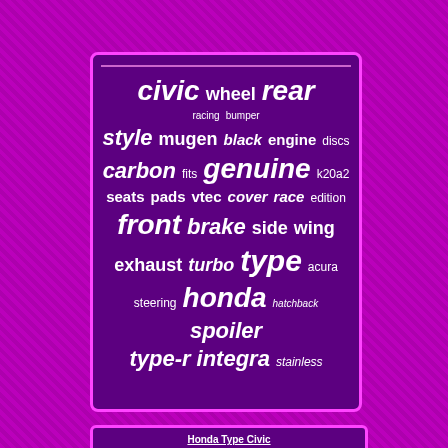[Figure (infographic): Word cloud of Honda Civic related parts and accessories keywords. Words include: civic, wheel, rear, racing, bumper, style, mugen, black, engine, discs, carbon, fits, genuine, k20a2, seats, pads, vtec, cover, race, edition, front, brake, side, wing, exhaust, turbo, type, acura, honda, steering, hatchback, spoiler, type-r, integra, stainless]
Honda Type Civic